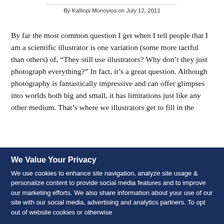By Kalliopi Monoyios on July 12, 2011
By far the most common question I get when I tell people that I am a scientific illustrator is one variation (some more tactful than others) of, “They still use illustrators? Why don’t they just photograph everything?” In fact, it’s a great question. Although photography is fantastically impressive and can offer glimpses into worlds both big and small, it has limitations just like any other medium. That’s where we illustrators get to fill in the
We Value Your Privacy
We use cookies to enhance site navigation, analyze site usage & personalize content to provide social media features and to improve our marketing efforts. We also share information about your use of our site with our social media, advertising and analytics partners. To opt out of website cookies or otherwise